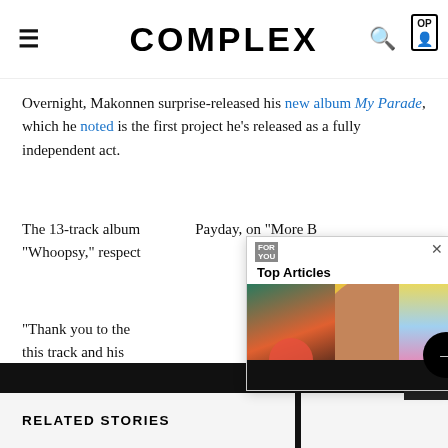COMPLEX
Overnight, Makonnen surprise-released his new album My Parade, which he noted is the first project he's released as a fully independent act.
The 13-track album features Payday, on "More B" and "Whoopsy," respectively.
[Figure (screenshot): Top Articles popup overlay with images of musicians and a smiling man with beard, with a navigation arrow]
"Thank you to the this track and his collaboration in an heard the line 'I lo it spoke to my soul.'"
RELATED STORIES